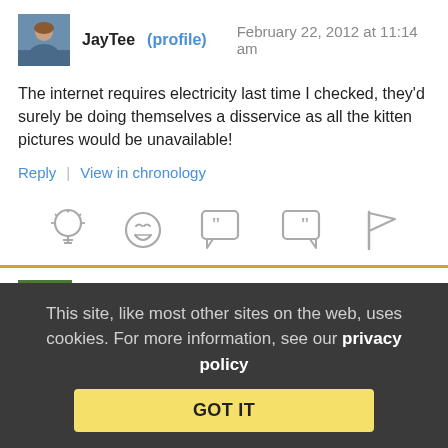JayTee (profile)   February 22, 2012 at 11:14 am
The internet requires electricity last time I checked, they'd surely be doing themselves a disservice as all the kitten pictures would be unavailable!
Reply | View in chronology
[Figure (infographic): Row of five action icons: lightbulb, laughing face, quote bubble (open quote), quote bubble (close quote), flag]
stormey   February 22, 2012 at 11:14 am
This site, like most other sites on the web, uses cookies. For more information, see our privacy policy   GOT IT